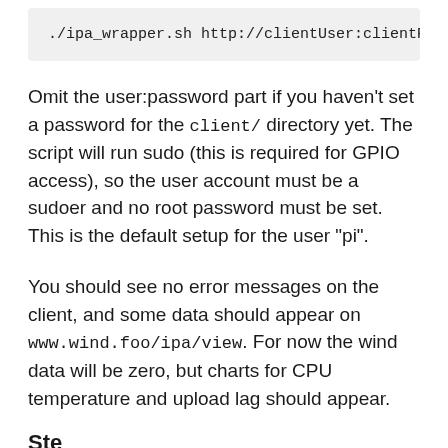./ipa_wrapper.sh http://clientUser:clientPa
Omit the user:password part if you haven't set a password for the client/ directory yet. The script will run sudo (this is required for GPIO access), so the user account must be a sudoer and no root password must be set. This is the default setup for the user "pi".
You should see no error messages on the client, and some data should appear on www.wind.foo/ipa/view. For now the wind data will be zero, but charts for CPU temperature and upload lag should appear.
Ste...